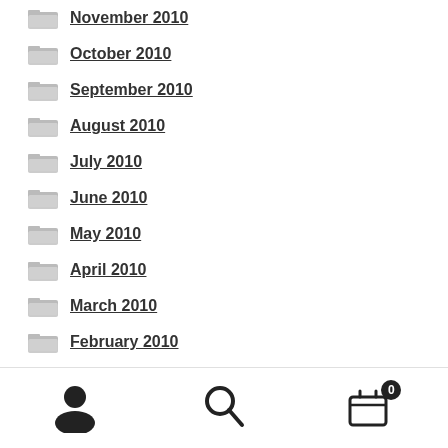November 2010
October 2010
September 2010
August 2010
July 2010
June 2010
May 2010
April 2010
March 2010
February 2010
January 2010
December 200...